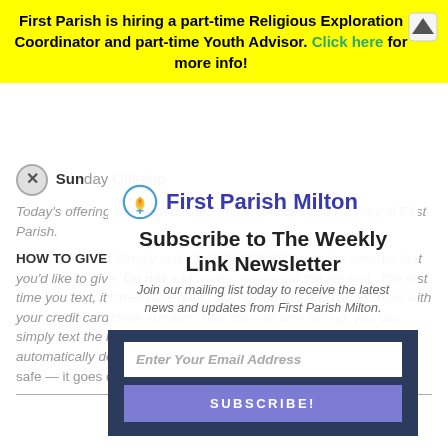First Parish is hiring a part-time Religious Exploration Coordinator and part-time Youth Advisor. Click here for more info!
Sunday Offering
Today's offering will be dedicated to the services and ministry of First Parish.
HOW TO GIVE: Simply text +1 (717) 659-7676 with the amount that you'd like to give. Do not add words, simply put the amount. The first time you text, it'll message back, asking you to set up an account with your credit card/debit number. After the one time set-up, you can simply text the number with an amount to give, and it'll be automatically debited from the account. The info is maintained and safe — it goes directly to a designated First Parish account.
[Figure (logo): First Parish Milton logo with flame icon and blue text]
Subscribe to The Weekly Link Newsletter
Join our mailing list today to receive the latest news and updates from First Parish Milton.
Enter Your Email Address
SUBSCRIBE!